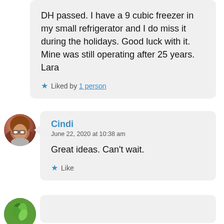DH passed. I have a 9 cubic freezer in my small refrigerator and I do miss it during the holidays. Good luck with it. Mine was still operating after 25 years. Lara
★ Liked by 1 person
[Figure (photo): Round avatar photo of a woman with glasses and brown/reddish hair]
Cindi
June 22, 2020 at 10:38 am
Great ideas. Can't wait.
★ Like
[Figure (illustration): Round avatar with green plant/leaf icon]